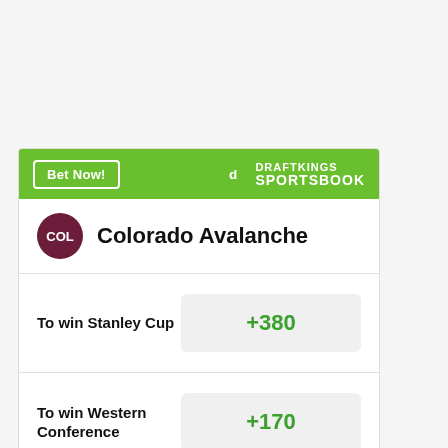[Figure (other): DraftKings Sportsbook betting card for Colorado Avalanche showing odds: To win Stanley Cup +380, To win Western Conference +170, To win Central -175]
Bet Now!
DRAFTKINGS SPORTSBOOK
Colorado Avalanche
To win Stanley Cup
+380
To win Western Conference
+170
To win Central
-175
Odds/Lines subject to change. See draftkings.com for details.